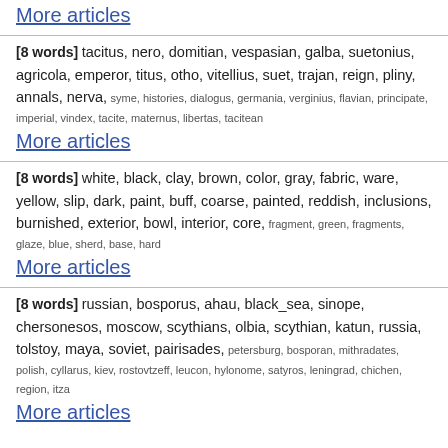More articles
[8 words] tacitus, nero, domitian, vespasian, galba, suetonius, agricola, emperor, titus, otho, vitellius, suet, trajan, reign, pliny, annals, nerva, syme, histories, dialogus, germania, verginius, flavian, principate, imperial, vindex, tacite, maternus, libertas, tacitean
More articles
[8 words] white, black, clay, brown, color, gray, fabric, ware, yellow, slip, dark, paint, buff, coarse, painted, reddish, inclusions, burnished, exterior, bowl, interior, core, fragment, green, fragments, glaze, blue, sherd, base, hard
More articles
[8 words] russian, bosporus, ahau, black_sea, sinope, chersonesos, moscow, scythians, olbia, scythian, katun, russia, tolstoy, maya, soviet, pairisades, petersburg, bosporan, mithradates, polish, cyllarus, kiev, rostovtzeff, leucon, hylonome, satyros, leningrad, chichen, region, itza
More articles